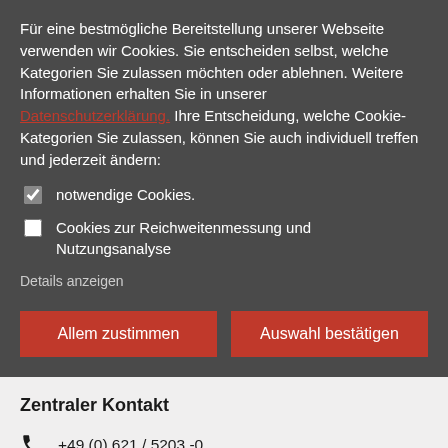Für eine bestmögliche Bereitstellung unserer Webseite verwenden wir Cookies. Sie entscheiden selbst, welche Kategorien Sie zulassen möchten oder ablehnen. Weitere Informationen erhalten Sie in unserer Datenschutzerklärung. Ihre Entscheidung, welche Cookie-Kategorien Sie zulassen, können Sie auch individuell treffen und jederzeit ändern:
notwendige Cookies.
Cookies zur Reichweitenmessung und Nutzungsanalyse
Details anzeigen
Allem zustimmen
Auswahl bestätigen
Zentraler Kontakt
+49 (0) 621 / 5203 -0
info@hwg-lu.de